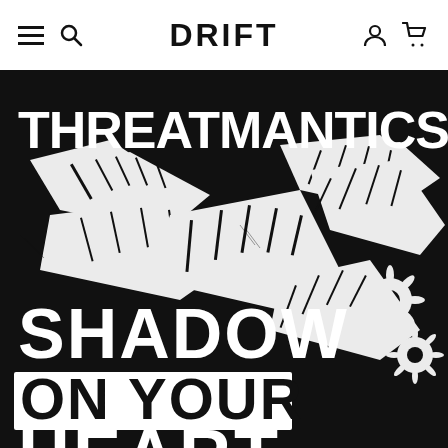DRIFT
[Figure (illustration): Black and white woodcut-style illustration for the book 'Threatmantics, Shadow on Your Heart' by Drift. Bold white hand-lettered text on black background with intricate linework depicting tropical leaves, flowers, and foliage. Text reads: THREATMANTICS, SHADOW ON YOUR HEART (partially visible).]